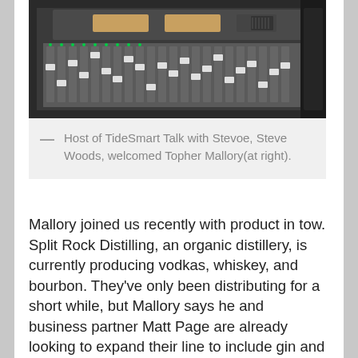[Figure (photo): A close-up photo of a radio broadcasting mixing console/soundboard with faders and controls visible at the top of the page.]
— Host of TideSmart Talk with Stevoe, Steve Woods, welcomed Topher Mallory(at right).
Mallory joined us recently with product in tow. Split Rock Distilling, an organic distillery, is currently producing vodkas, whiskey, and bourbon. They've only been distributing for a short while, but Mallory says he and business partner Matt Page are already looking to expand their line to include gin and rum. They're also hoping to hire some employees within the next year. They're pouring daily at their location on Route One in Newcastle and selling locally at RSVP on Forest Avenue in Portland and at the Bow Street Market in Freeport. To find it at your local store or bar, just talk to your bartender or ask for it to be stocked.